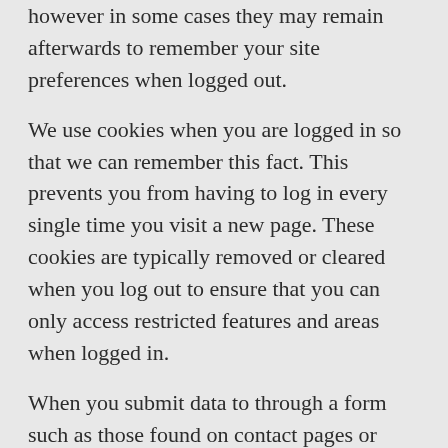however in some cases they may remain afterwards to remember your site preferences when logged out.
We use cookies when you are logged in so that we can remember this fact. This prevents you from having to log in every single time you visit a new page. These cookies are typically removed or cleared when you log out to ensure that you can only access restricted features and areas when logged in.
When you submit data to through a form such as those found on contact pages or comment forms cookies may be set to remember your user details for future correspondence.